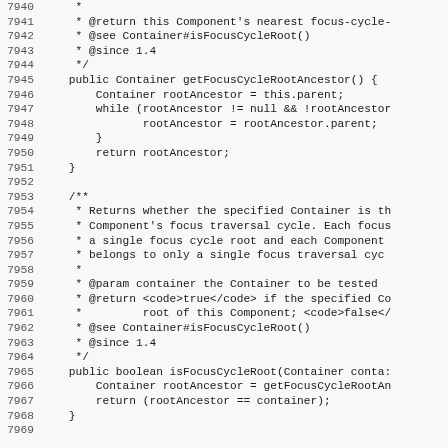Source code listing lines 7940-7969, Java component focus cycle methods including getFocusCycleRootAncestor() and isFocusCycleRoot(Container container)